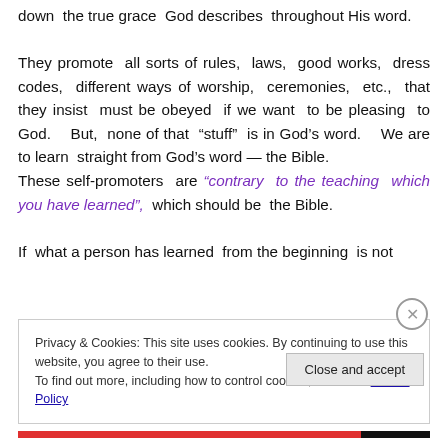down the true grace God describes throughout His word.

They promote all sorts of rules, laws, good works, dress codes, different ways of worship, ceremonies, etc., that they insist must be obeyed if we want to be pleasing to God. But, none of that “stuff” is in God’s word. We are to learn straight from God’s word — the Bible. These self-promoters are “contrary to the teaching which you have learned”, which should be the Bible.

If what a person has learned from the beginning is not
Privacy & Cookies: This site uses cookies. By continuing to use this website, you agree to their use.
To find out more, including how to control cookies, see here: Cookie Policy